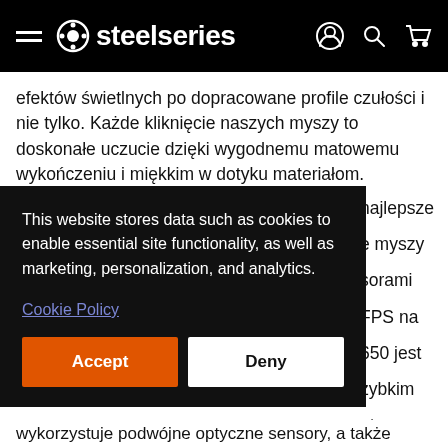steelseries
efektów świetlnych po dopracowane profile czułości i nie tylko. Każde kliknięcie naszych myszy to doskonałe uczucie dzięki wygodnemu matowemu wykończeniu i miękkim w dotyku materiałom.
Precyzyjna mysz dla graczy do
[Figure (screenshot): Cookie consent dialog overlay on SteelSeries website. Dark background with white text: 'This website stores data such as cookies to enable essential site functionality, as well as marketing, personalization, and analytics.' Below is a 'Cookie Policy' link in purple/blue, then two buttons: 'Accept' (orange) and 'Deny' (white).]
najlepsze e myszy sorami FPS na 650 jest zybkim ota y
wykorzystuje podwójne optyczne sensory, a także